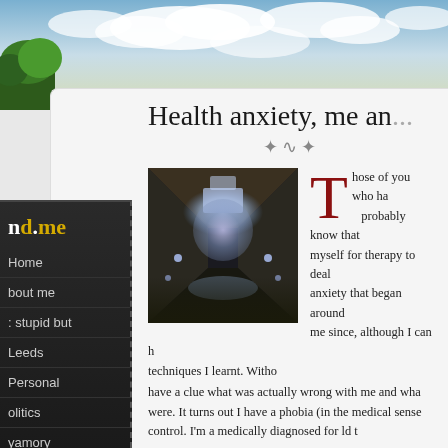[Figure (photo): Sky with clouds and trees/greenery at the top of a blog page header]
Health anxiety, me an...
[Figure (photo): Interior architectural photo showing a corridor or tunnel with dramatic lighting and a glowing ceiling]
Those of you who ha... probably know that myself for therapy to deal anxiety that began around me since, although I can h techniques I learnt. Witho have a clue what was actually wrong with me and wha were. It turns out I have a phobia (in the medical sense control. I'm a medically diagnosed, for ld t
Home
bout me
: stupid but
Leeds
Personal
olitics
yamory